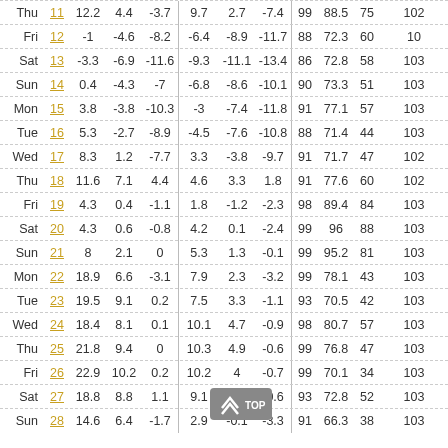| Day | Date | Col1 | Col2 | Col3 | Col4 | Col5 | Col6 | Col7 | Col8 | Col9 | Col10 |
| --- | --- | --- | --- | --- | --- | --- | --- | --- | --- | --- | --- |
| Thu | 11 | 12.2 | 4.4 | -3.7 | 9.7 | 2.7 | -7.4 | 99 | 88.5 | 75 | 102 |
| Fri | 12 | -1 | -4.6 | -8.2 | -6.4 | -8.9 | -11.7 | 88 | 72.3 | 60 | 10 |
| Sat | 13 | -3.3 | -6.9 | -11.6 | -9.3 | -11.1 | -13.4 | 86 | 72.8 | 58 | 103 |
| Sun | 14 | 0.4 | -4.3 | -7 | -6.8 | -8.6 | -10.1 | 90 | 73.3 | 51 | 103 |
| Mon | 15 | 3.8 | -3.8 | -10.3 | -3 | -7.4 | -11.8 | 91 | 77.1 | 57 | 103 |
| Tue | 16 | 5.3 | -2.7 | -8.9 | -4.5 | -7.6 | -10.8 | 88 | 71.4 | 44 | 103 |
| Wed | 17 | 8.3 | 1.2 | -7.7 | 3.3 | -3.8 | -9.7 | 91 | 71.7 | 47 | 102 |
| Thu | 18 | 11.6 | 7.1 | 4.4 | 4.6 | 3.3 | 1.8 | 91 | 77.6 | 60 | 102 |
| Fri | 19 | 4.3 | 0.4 | -1.1 | 1.8 | -1.2 | -2.3 | 98 | 89.4 | 84 | 103 |
| Sat | 20 | 4.3 | 0.6 | -0.8 | 4.2 | 0.1 | -2.4 | 99 | 96 | 88 | 103 |
| Sun | 21 | 8 | 2.1 | 0 | 5.3 | 1.3 | -0.1 | 99 | 95.2 | 81 | 103 |
| Mon | 22 | 18.9 | 6.6 | -3.1 | 7.9 | 2.3 | -3.2 | 99 | 78.1 | 43 | 103 |
| Tue | 23 | 19.5 | 9.1 | 0.2 | 7.5 | 3.3 | -1.1 | 93 | 70.5 | 42 | 103 |
| Wed | 24 | 18.4 | 8.1 | 0.1 | 10.1 | 4.7 | -0.9 | 98 | 80.7 | 57 | 103 |
| Thu | 25 | 21.8 | 9.4 | 0 | 10.3 | 4.9 | -0.6 | 99 | 76.8 | 47 | 103 |
| Fri | 26 | 22.9 | 10.2 | 0.2 | 10.2 | 4 | -0.7 | 99 | 70.1 | 34 | 103 |
| Sat | 27 | 18.8 | 8.8 | 1.1 | 9.1 | 3.9 | -0.6 | 93 | 72.8 | 52 | 103 |
| Sun | 28 | 14.6 | 6.4 | -1.7 | 2.9 | -0.1 | -3.3 | 91 | 66.3 | 38 | 103 |